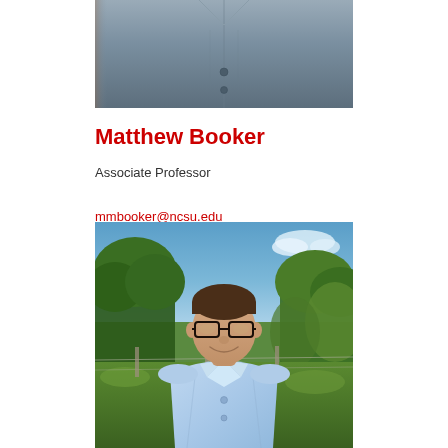[Figure (photo): Partial photo of a person wearing a grey/blue shirt, cropped to show torso and lower head]
Matthew Booker
Associate Professor
mmbooker@ncsu.edu
[Figure (photo): Photo of Matthew Booker, a man with glasses and short hair, wearing a light blue button-down shirt, standing outdoors in front of green vegetation and a blue sky]